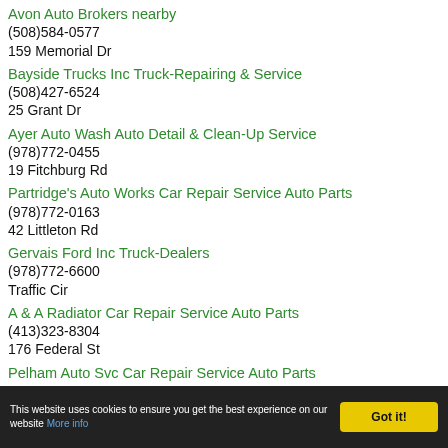Avon Auto Brokers nearby
(508)584-0577
159 Memorial Dr
Bayside Trucks Inc Truck-Repairing & Service
(508)427-6524
25 Grant Dr
Ayer Auto Wash Auto Detail & Clean-Up Service
(978)772-0455
19 Fitchburg Rd
Partridge's Auto Works Car Repair Service Auto Parts
(978)772-0163
42 Littleton Rd
Gervais Ford Inc Truck-Dealers
(978)772-6600
Traffic Cir
A & A Radiator Car Repair Service Auto Parts
(413)323-8304
176 Federal St
Pelham Auto Svc Car Repair Service Auto Parts
This website uses cookies to ensure you get the best experience on our website More info
Got it!